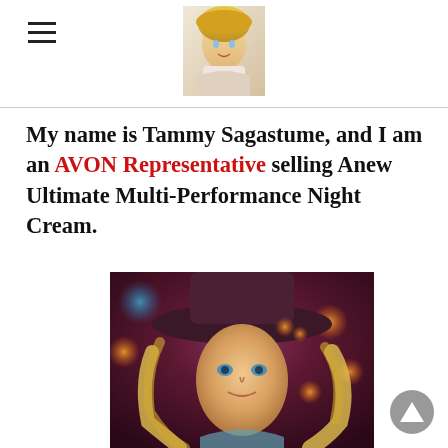My name is Tammy Sagastume, and I am an AVON Representative selling Anew Ultimate Multi-Performance Night Cream.
[Figure (photo): Portrait photo of a young blonde woman wearing a wide-brimmed dark hat, with bokeh lights in the background in warm and cool tones.]